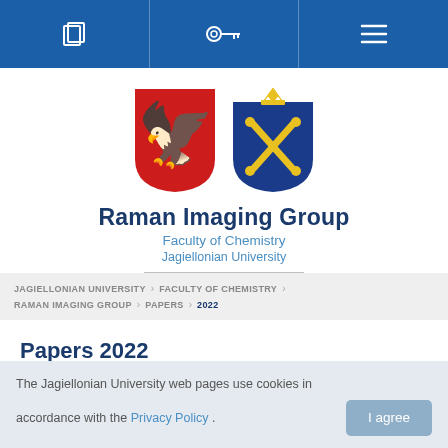Navigation bar with icons: copy/page icon, key icon, menu icon
[Figure (logo): Two heraldic emblems: Polish eagle on red shield (left) and Jagiellonian University crest on blue shield with golden crown and crossed scepters (right)]
Raman Imaging Group
Faculty of Chemistry
Jagiellonian University
JAGIELLONIAN UNIVERSITY > FACULTY OF CHEMISTRY > RAMAN IMAGING GROUP > PAPERS > 2022
Papers 2022
The Jagiellonian University web pages use cookies in accordance with the Privacy Policy . I agree